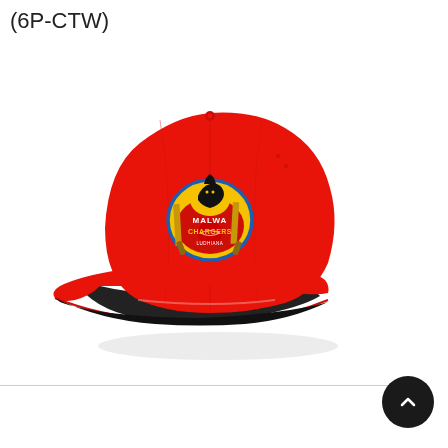(6P-CTW)
[Figure (photo): Red cricket cap with Malwa Chargers logo embroidered on the front. The cap is red with black brim underside. The logo shows crossed cricket bats, a cricket ball, and a black animal silhouette on a yellow background with 'MALWA CHARGERS' text in a blue shield.]